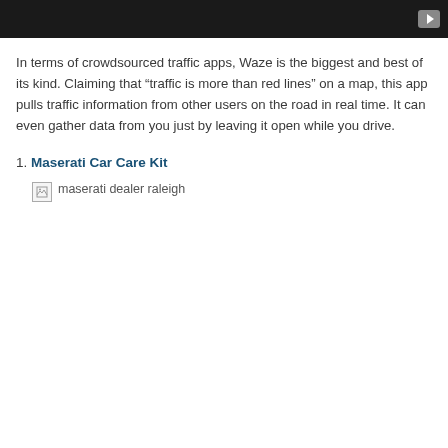[Figure (screenshot): Dark video player bar with a play button icon in the top right corner]
In terms of crowdsourced traffic apps, Waze is the biggest and best of its kind. Claiming that “traffic is more than red lines” on a map, this app pulls traffic information from other users on the road in real time. It can even gather data from you just by leaving it open while you drive.
1. Maserati Car Care Kit
[Figure (photo): Broken image placeholder with alt text: maserati dealer raleigh]